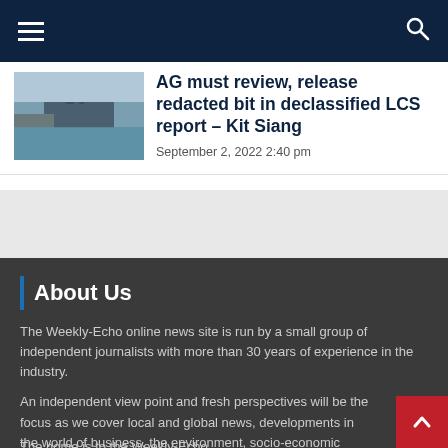Navigation bar with hamburger menu and search icon
AG must review, release redacted bit in declassified LCS report – Kit Siang
September 2, 2022 2:40 pm
About Us
The Weekly-Echo online news site is run by a small group of independent journalists with more than 30 years of experience in the industry.
An independent view point and fresh perspectives will be the focus as we cover local and global news, developments in the world of business, the environment, socio-economic issues, lifestyle and local communities.
The home is to the Weekly Echo...